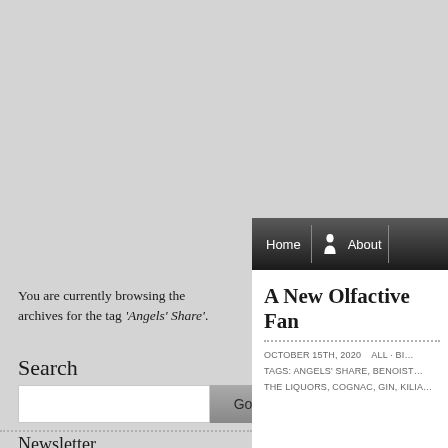[Figure (screenshot): Top gray banner area of a website]
Home | About
You are currently browsing the archives for the tag 'Angels' Share'.
Search
Search input box with Go button
Newsletter
A New Olfactive Fan
OCTOBER 15TH, 2020    ALL · BI... TAGS: ANGELS' SHARE, BENOIST... THE LIQUORS, COGNAC, GIN, KILIA...